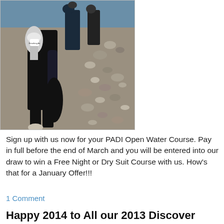[Figure (photo): Scuba divers in wetsuits carrying equipment including tanks and fins walking on a rocky pebble beach toward the water. One diver in foreground holds black fins and carries an air tank on back.]
Sign up with us now for your PADI Open Water Course. Pay in full before the end of March and you will be entered into our draw to win a Free Night or Dry Suit Course with us. How's that for a January Offer!!!
1 Comment
Happy 2014 to All our 2013 Discover Scuba